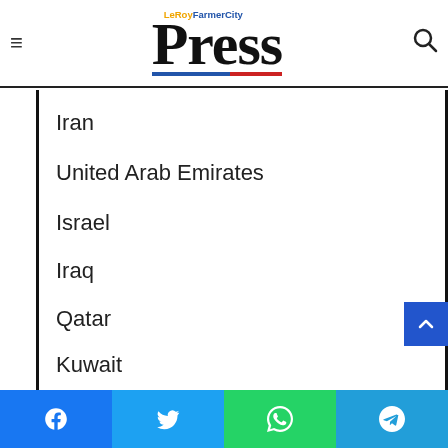LeRoy FarmerCity Press
Iran
United Arab Emirates
Israel
Iraq
Qatar
Kuwait
Facebook | Twitter | WhatsApp | Telegram